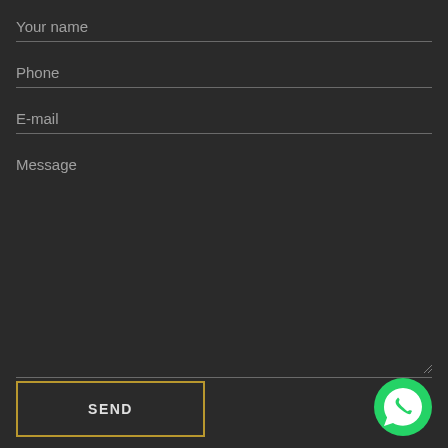Your name
Phone
E-mail
Message
SEND
[Figure (logo): WhatsApp logo icon — green circle with white phone/chat icon]